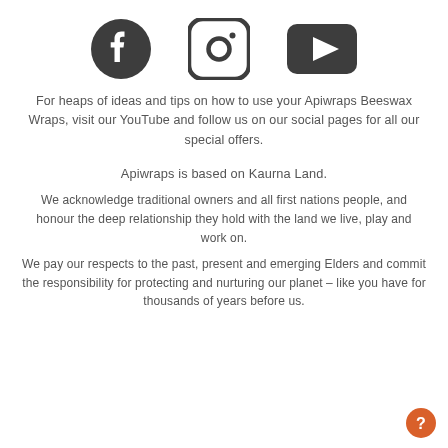[Figure (illustration): Three social media icons: Facebook, Instagram, and YouTube, displayed in a row, dark gray color on white background]
For heaps of ideas and tips on how to use your Apiwraps Beeswax Wraps, visit our YouTube and follow us on our social pages for all our special offers.
Apiwraps is based on Kaurna Land.
We acknowledge traditional owners and all first nations people, and honour the deep relationship they hold with the land we live, play and work on.
We pay our respects to the past, present and emerging Elders and commit the responsibility for protecting and nurturing our planet – like you have for thousands of years before us.
[Figure (illustration): Orange circular help/question mark button in the bottom right corner]